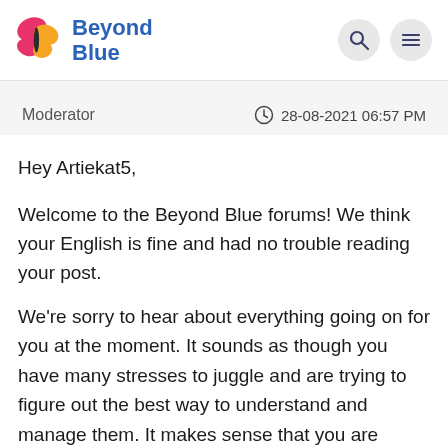[Figure (logo): Beyond Blue logo with butterfly icon in pink and yellow, and text 'Beyond Blue' in blue]
Moderator   28-08-2021 06:57 PM
Hey Artiekat5,
Welcome to the Beyond Blue forums! We think your English is fine and had no trouble reading your post.
We're sorry to hear about everything going on for you at the moment. It sounds as though you have many stresses to juggle and are trying to figure out the best way to understand and manage them. It makes sense that you are looking to support yourself, that's a lot to deal with. Please